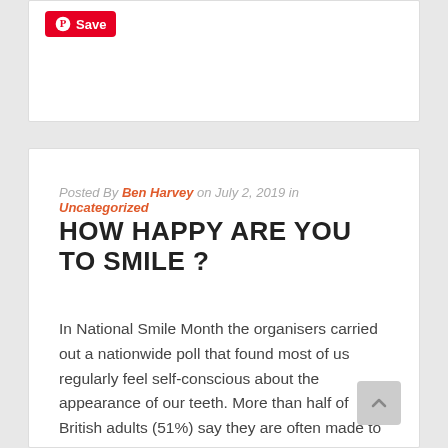[Figure (other): Pinterest Save button (red button with Pinterest logo and text 'Save')]
Posted By Ben Harvey on July 2, 2019 in Uncategorized
HOW HAPPY ARE YOU TO SMILE ?
In National Smile Month the organisers carried out a nationwide poll that found most of us regularly feel self-conscious about the appearance of our teeth. More than half of British adults (51%) say they are often made to feel anxious about how their smile looks and less than a third (29%) are likely to pose ... Continued